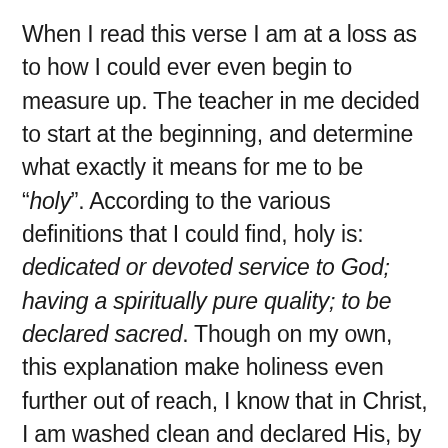When I read this verse I am at a loss as to how I could ever even begin to measure up. The teacher in me decided to start at the beginning, and determine what exactly it means for me to be “holy”. According to the various definitions that I could find, holy is: dedicated or devoted service to God; having a spiritually pure quality; to be declared sacred. Though on my own, this explanation make holiness even further out of reach, I know that in Christ, I am washed clean and declared His, by which Christ calls me sacred before Him, and spiritually pure in His eyes. Knowing that He has done these things for me, draws my heart to devotion unto Him. This does not